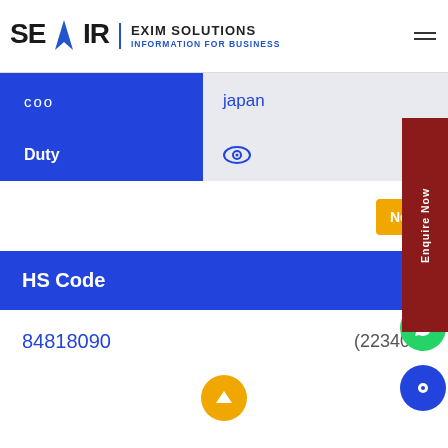[Figure (logo): SEAIR Exim Solutions logo with arrow icon and tagline 'Information for Business']
COO
japan
Duty
HS Code
84818090
(223409)